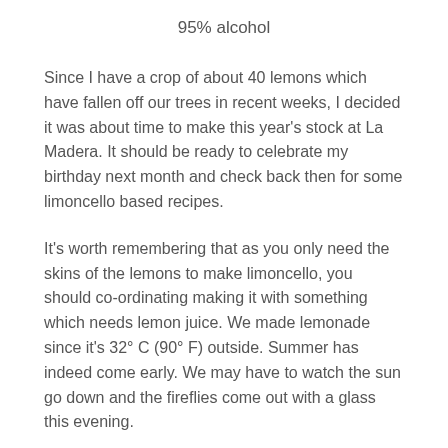95% alcohol
Since I have a crop of about 40 lemons which have fallen off our trees in recent weeks, I decided it was about time to make this year's stock at La Madera. It should be ready to celebrate my birthday next month and check back then for some limoncello based recipes.
It's worth remembering that as you only need the skins of the lemons to make limoncello, you should co-ordinating making it with something which needs lemon juice. We made lemonade since it's 32° C (90° F) outside. Summer has indeed come early. We may have to watch the sun go down and the fireflies come out with a glass this evening.
You can vary the recipe by using other citrus fruits such as